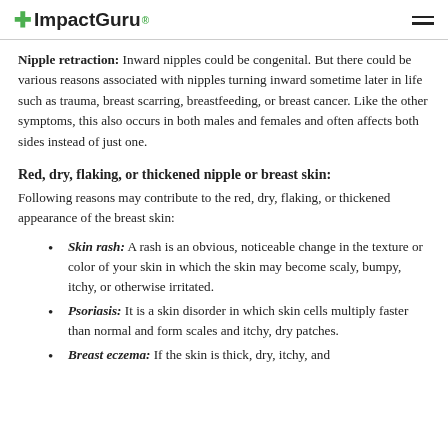ImpactGuru
Nipple retraction: Inward nipples could be congenital. But there could be various reasons associated with nipples turning inward sometime later in life such as trauma, breast scarring, breastfeeding, or breast cancer. Like the other symptoms, this also occurs in both males and females and often affects both sides instead of just one.
Red, dry, flaking, or thickened nipple or breast skin:
Following reasons may contribute to the red, dry, flaking, or thickened appearance of the breast skin:
Skin rash: A rash is an obvious, noticeable change in the texture or color of your skin in which the skin may become scaly, bumpy, itchy, or otherwise irritated.
Psoriasis: It is a skin disorder in which skin cells multiply faster than normal and form scales and itchy, dry patches.
Breast eczema: If the skin is thick, dry, itchy, and